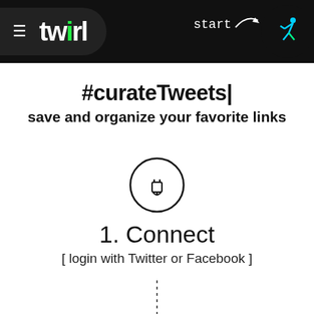twirl — start
#curateTweets|
save and organize your favorite links
[Figure (illustration): Plug icon inside a circle]
1. Connect
[ login with Twitter or Facebook ]